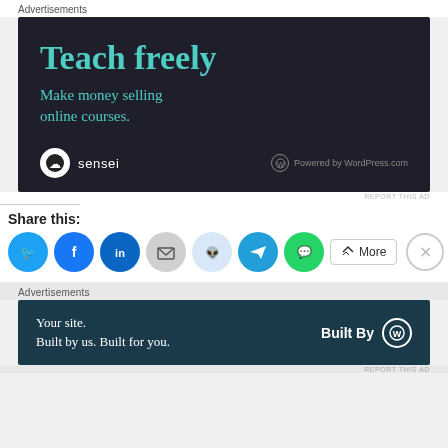Advertisements
[Figure (screenshot): Dark advertisement banner for Sensei by WordPress.com. Text reads 'Teach freely' and 'Make money selling online courses.' with Sensei logo and 'Powered by WordPress.com' at bottom.]
REPORT THIS AD
Share this:
[Figure (infographic): Social sharing buttons: Twitter (blue), Facebook (blue), LinkedIn (blue), Email (grey), Reddit (light blue), Telegram (blue), WhatsApp (green), and a More button.]
Advertisements
[Figure (screenshot): Dark teal advertisement banner: 'Your site. Built by us. Built for you.' with 'Built By' and WordPress logo on the right.]
REPORT THIS AD